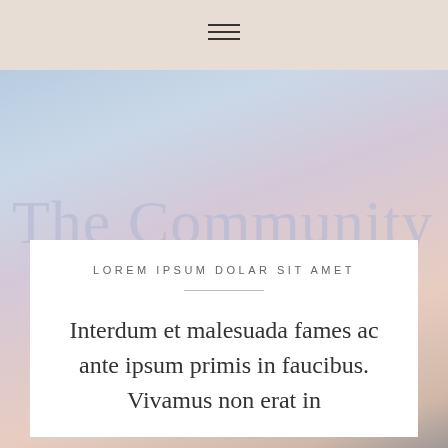☰ (hamburger menu icon)
[Figure (illustration): Blurred pastel background photo with soft blue, pink, and warm tones suggesting an outdoor coastal or sky scene]
The Community
LOREM IPSUM DOLAR SIT AMET
Interdum et malesuada fames ac ante ipsum primis in faucibus. Vivamus non erat in